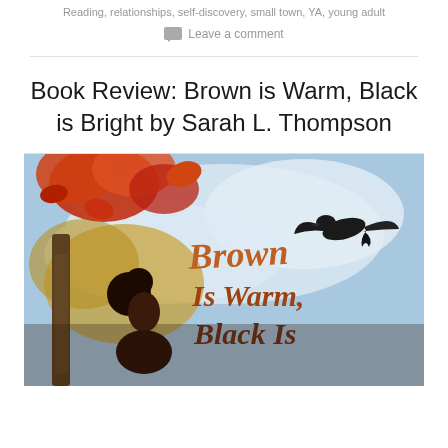Reading, relationships, self-discovery, small town, YA, young adult
Leave a comment
Book Review: Brown is Warm, Black is Bright by Sarah L. Thompson
[Figure (illustration): Book cover of 'Brown is Warm, Black is Bright' showing a young Black girl looking up at autumn trees with orange and red leaves, a crow in flight against a cloudy sky, and the title text in orange and brown lettering.]